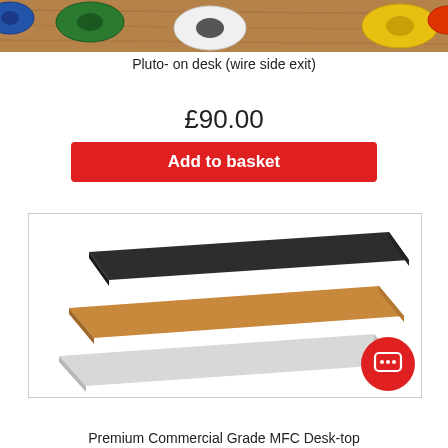[Figure (photo): Colorful round cable grommets on a wooden desk surface, showing green, blue, white, yellow and other colored grommets.]
Pluto- on desk (wire side exit)
£90.00
Add to basket
[Figure (illustration): Exploded view diagram of a Premium Commercial Grade MFC Desk-top showing three layers: a dark top laminate, a medium wood-coloured MFC core, and a light grey bottom laminate.]
Premium Commercial Grade MFC Desk-top